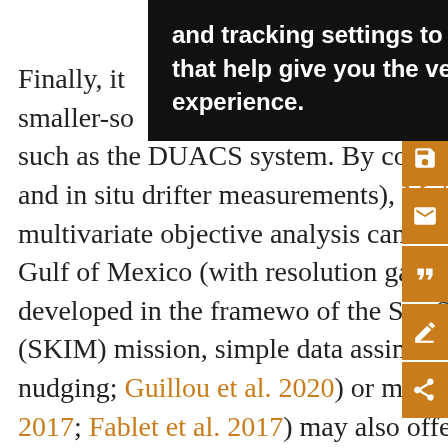[Figure (screenshot): Black tooltip/popup overlay showing text: 'and tracking settings to store information that help give you the very best browsing experience.']
Finally, it [...] ch is also not th[...] ng smaller-so[...] s in the state-of-the-art SSH mapping system such as the DUACS system. By combining various type of sensors (altimeter data and in situ drifter measurements), Mulet et al. (2020) demonstrated that multivariate objective analysis can help to refine the mapping of the SSH in the Gulf of Mexico (with resolution gain of 10%). The multiscale mapping approach developed in the framework of the Sea Surface Kinematics Multiscale Monitoring (SKIM) mission, simple data assimilation methods (e.g., backward–forward nudging; Guillou et al. 2020) or machine learning approaches (Lguensat et al. 2017; Fablet et al. 2017) may also offer the possibility to map the...